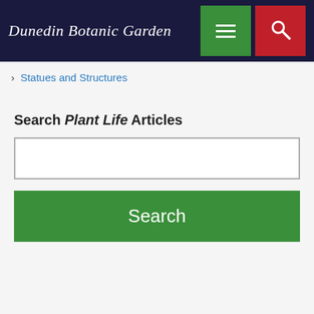Dunedin Botanic Garden
› Statues and Structures
Search Plant Life Articles
[Search input field]
Search